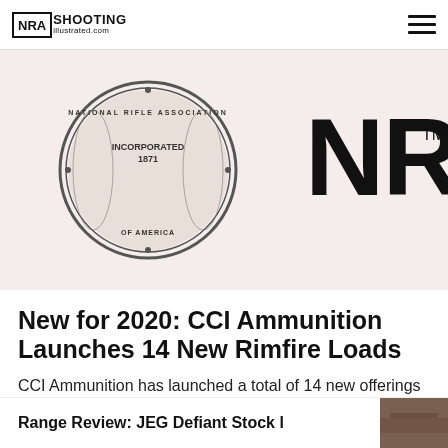NRA Shooting Illustrated .com
[Figure (logo): NRA seal medallion logo and large NRA text with TM trademark symbol on a light pink/cream background]
New for 2020: CCI Ammunition Launches 14 New Rimfire Loads
CCI Ammunition has launched a total of 14 new offerings in more than 12 product lines at the 2020 SHOT Show.
SHOT SHOW 2020, AMMUNITION
Range Review: JEG Defiant Stock l...